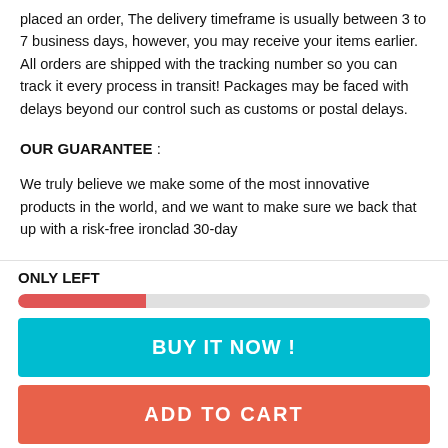placed an order, The delivery timeframe is usually between 3 to 7 business days, however, you may receive your items earlier. All orders are shipped with the tracking number so you can track it every process in transit! Packages may be faced with delays beyond our control such as customs or postal delays.
OUR GUARANTEE :
We truly believe we make some of the most innovative products in the world, and we want to make sure we back that up with a risk-free ironclad 30-day
ONLY LEFT
[Figure (other): Progress bar showing approximately 31% filled in red/coral color on a light grey background]
BUY IT NOW !
ADD TO CART